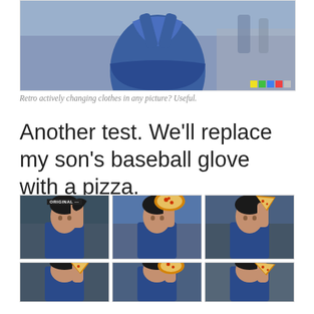[Figure (photo): Top portion of a woman wearing a blue sleeveless dress, standing outdoors on a cobblestone path. Small color chips visible in bottom right corner.]
Retro actively changing clothes in any picture? Useful.
Another test. We'll replace my son's baseball glove with a pizza.
[Figure (photo): Grid of photos showing a boy holding a baseball glove (labeled ORIGINAL) and multiple variations where the glove is replaced by a pizza, showing AI image editing results.]